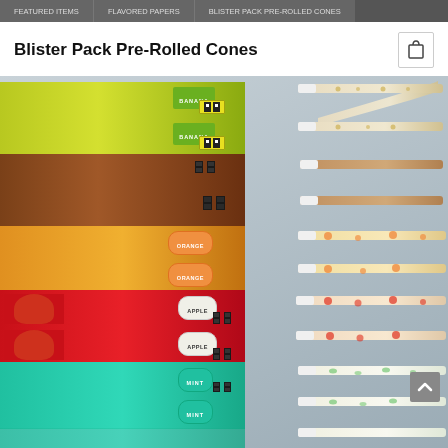Blister Pack Pre-Rolled Cones navigation bar
Blister Pack Pre-Rolled Cones
[Figure (photo): Stack of flavored pre-rolled cone blister packs on the left (Banana in green/yellow, chocolate brown, Orange in yellow/orange, Apple in red, Mint in teal), with rolled cone papers fanned out on the right showing matching flavored patterns. A grey scroll-up button is visible at the bottom right of the image.]